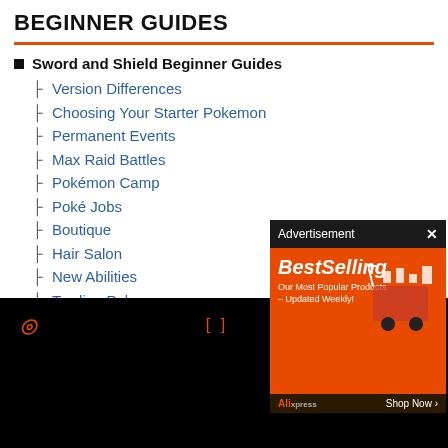BEGINNER GUIDES
Sword and Shield Beginner Guides
Version Differences
Choosing Your Starter Pokemon
Permanent Events
Max Raid Battles
Pokémon Camp
Poké Jobs
Boutique
Hair Salon
New Abilities
Trading Pokemon
Type Chart
[Figure (screenshot): Advertisement overlay from AliExpress showing 'BestSelling - Our Most Popular Products - Updated Weekly!' with shopping cart graphic on orange background, with black header bar showing 'Advertisement' and close X button.]